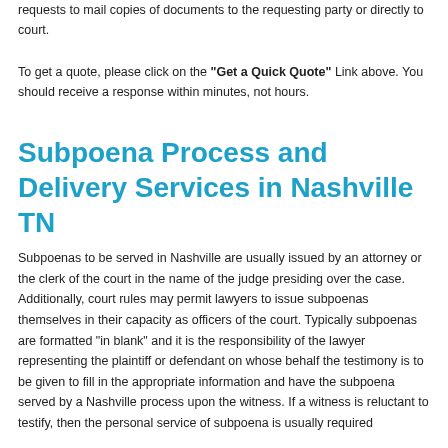requests to mail copies of documents to the requesting party or directly to court.
To get a quote, please click on the "Get a Quick Quote" Link above. You should receive a response within minutes, not hours.
Subpoena Process and Delivery Services in Nashville TN
Subpoenas to be served in Nashville are usually issued by an attorney or the clerk of the court in the name of the judge presiding over the case. Additionally, court rules may permit lawyers to issue subpoenas themselves in their capacity as officers of the court. Typically subpoenas are formatted "in blank" and it is the responsibility of the lawyer representing the plaintiff or defendant on whose behalf the testimony is to be given to fill in the appropriate information and have the subpoena served by a Nashville process upon the witness. If a witness is reluctant to testify, then the personal service of subpoena is usually required